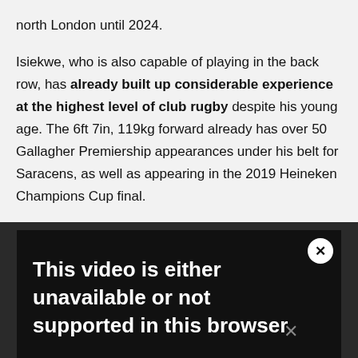north London until 2024.
Isiekwe, who is also capable of playing in the back row, has already built up considerable experience at the highest level of club rugby despite his young age. The 6ft 7in, 119kg forward already has over 50 Gallagher Premiership appearances under his belt for Saracens, as well as appearing in the 2019 Heineken Champions Cup final.
[Figure (screenshot): Dark video player embed showing message: 'This video is either unavailable or not supported in this browser' with a close (X) button in the top-right corner.]